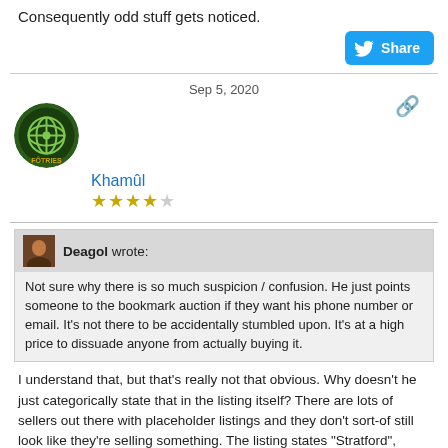Consequently odd stuff gets noticed.
[Figure (other): Twitter Share button with bird icon, blue rounded rectangle]
Sep 5, 2020
[Figure (other): User avatar circular image with decorative green pattern]
Khamûl
[Figure (other): 4-star rating with 4 filled stars and 1 empty star]
Deagol wrote: Not sure why there is so much suspicion / confusion. He just points someone to the bookmark auction if they want his phone number or email. It's not there to be accidentally stumbled upon. It's at a high price to dissuade anyone from actually buying it.
I understand that, but that's really not that obvious. Why doesn't he just categorically state that in the listing itself? There are lots of sellers out there with placeholder listings and they don't sort-of still look like they're selling something. The listing states "Stratford", bookmark states "Moreton", business address states "Northumberland". Business details already gives you phone number & email address. That's where I'd look if I knew nothing about this seller...
[Figure (other): Twitter Share button with bird icon, blue rounded rectangle]